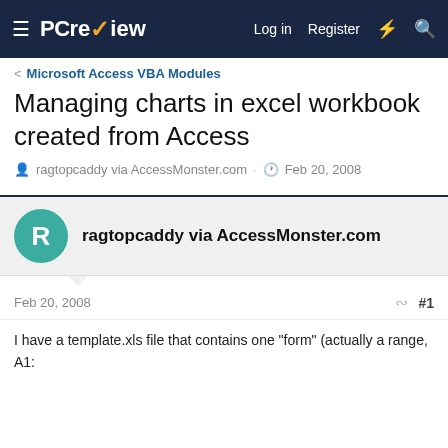PC review — Log in  Register
< Microsoft Access VBA Modules
Managing charts in excel workbook created from Access
ragtopcaddy via AccessMonster.com · Feb 20, 2008
ragtopcaddy via AccessMonster.com
Feb 20, 2008  #1
I have a template.xls file that contains one "form" (actually a range, A1: